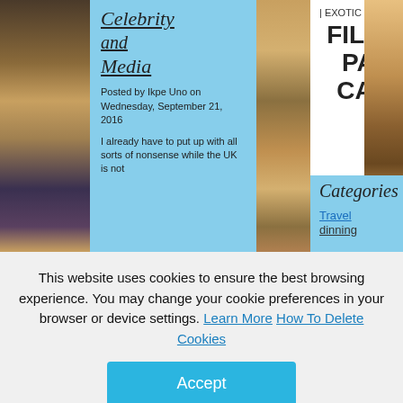[Figure (screenshot): Website screenshot showing a blog about Celebrity and Media with an article posted by Ikpe Uno on Wednesday, September 21, 2016, and a section for Exotic Dinning with FILES AND PAPERS CABINET title, and a Categories panel with Travel dinning link.]
Celebrity and Media
Posted by Ikpe Uno on Wednesday, September 21, 2016
I already have to put up with all sorts of nonsense while the UK is not
| EXOTIC DINNING
FILES AND PAPERS CABINET
Categories
Travel dinning
This website uses cookies to ensure the best browsing experience. You may change your cookie preferences in your browser or device settings. Learn More How To Delete Cookies
Accept